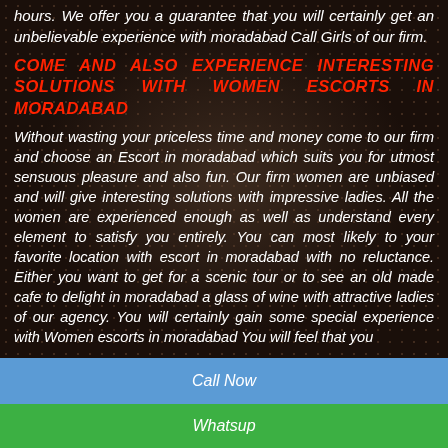hours. We offer you a guarantee that you will certainly get an unbelievable experience with moradabad Call Girls of our firm.
COME AND ALSO EXPERIENCE INTERESTING SOLUTIONS WITH WOMEN ESCORTS IN MORADABAD
Without wasting your priceless time and money come to our firm and choose an Escort in moradabad which suits you for utmost sensuous pleasure and also fun. Our firm women are unbiased and will give interesting solutions with impressive ladies. All the women are experienced enough as well as understand every element to satisfy you entirely. You can most likely to your favorite location with escort in moradabad with no reluctance. Either you want to get for a scenic tour or to see an old made cafe to delight in moradabad a glass of wine with attractive ladies of our agency. You will certainly gain some special experience with Women escorts in moradabad You will feel that you
Call Now
Whatsup